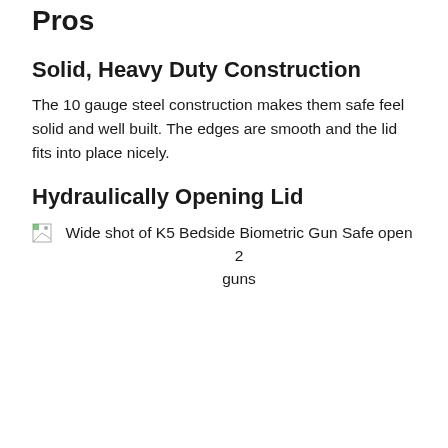Pros
Solid, Heavy Duty Construction
The 10 gauge steel construction makes them safe feel solid and well built. The edges are smooth and the lid fits into place nicely.
Hydraulically Opening Lid
[Figure (photo): Broken image placeholder with alt text: Wide shot of K5 Bedside Biometric Gun Safe open 2 guns]